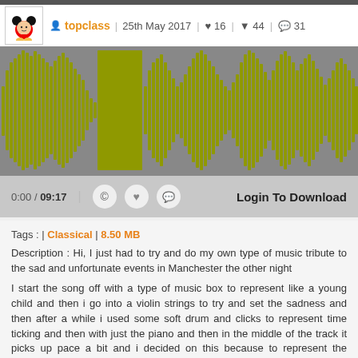[Figure (screenshot): Audio waveform player showing olive/yellow-green waveform on gray background]
topclass | 25th May 2017 ♥ 16 ▼ 44 ☉ 31
0:00 / 09:17  ©  ♥  ☉  Login To Download
Tags : | Classical | 8.50 MB
Description : Hi, I just had to try and do my own type of music tribute to the sad and unfortunate events in Manchester the other night
I start the song off with a type of music box to represent like a young child and then i go into a violin strings to try and set the sadness and then after a while i used some soft drum and clicks to represent time ticking and then with just the piano and then in the middle of the track it picks up pace a bit and i decided on this because to represent the strength of the people that will stand strong and i once again also put the music box in with this and my reason was to be strong for the rest of the children and then i finsh up with the piano again and the ending on the drum to remember the lives sadly lost and a type of silence if it were